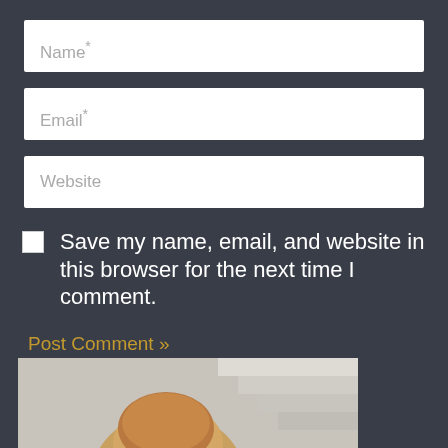Name*
Email*
Website
Save my name, email, and website in this browser for the next time I comment.
Post Comment »
[Figure (photo): Partial view of a person with reddish/auburn hair against a light staircase background]